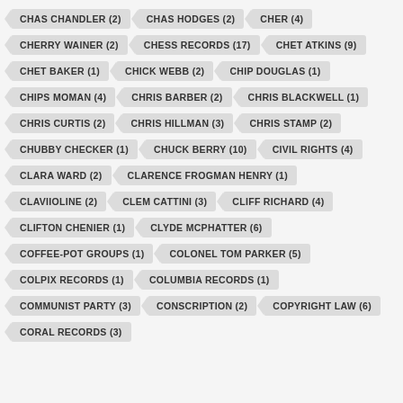CHAS CHANDLER (2)
CHAS HODGES (2)
CHER (4)
CHERRY WAINER (2)
CHESS RECORDS (17)
CHET ATKINS (9)
CHET BAKER (1)
CHICK WEBB (2)
CHIP DOUGLAS (1)
CHIPS MOMAN (4)
CHRIS BARBER (2)
CHRIS BLACKWELL (1)
CHRIS CURTIS (2)
CHRIS HILLMAN (3)
CHRIS STAMP (2)
CHUBBY CHECKER (1)
CHUCK BERRY (10)
CIVIL RIGHTS (4)
CLARA WARD (2)
CLARENCE FROGMAN HENRY (1)
CLAVIIOLINE (2)
CLEM CATTINI (3)
CLIFF RICHARD (4)
CLIFTON CHENIER (1)
CLYDE MCPHATTER (6)
COFFEE-POT GROUPS (1)
COLONEL TOM PARKER (5)
COLPIX RECORDS (1)
COLUMBIA RECORDS (1)
COMMUNIST PARTY (3)
CONSCRIPTION (2)
COPYRIGHT LAW (6)
CORAL RECORDS (3)